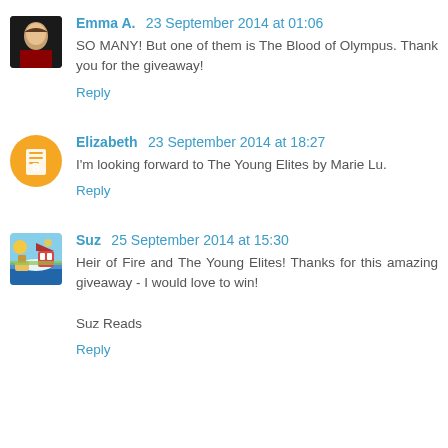Emma A. 23 September 2014 at 01:06
SO MANY! But one of them is The Blood of Olympus. Thank you for the giveaway!
Reply
Elizabeth 23 September 2014 at 18:27
I'm looking forward to The Young Elites by Marie Lu.
Reply
Suz 25 September 2014 at 15:30
Heir of Fire and The Young Elites! Thanks for this amazing giveaway - I would love to win!

Suz Reads
Reply